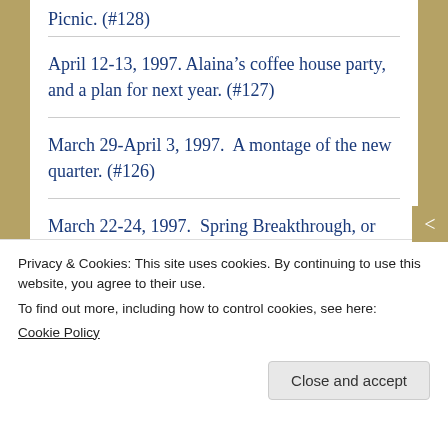Picnic. (#128)
April 12-13, 1997. Alaina’s coffee house party, and a plan for next year. (#127)
March 29-April 3, 1997. A montage of the new quarter. (#126)
March 22-24, 1997. Spring Breakthrough, or whatever that retreat with the foosball table was actually called. (#125)
March 14, 1997. The last day...
Privacy & Cookies: This site uses cookies. By continuing to use this website, you agree to their use.
To find out more, including how to control cookies, see here: Cookie Policy